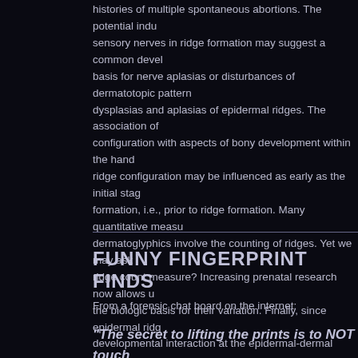histories of multiple spontaneous abortions. The potential induction of sensory nerves in ridge formation may suggest a common developmental basis for nerve aplasias or disturbances of dermatotopic patterns in dysplasias and aplasias of epidermal ridges. The association of ridge configuration with aspects of bony development within the hand means ridge configuration may be influenced as early as the initial stages of formation, i.e., prior to ridge formation. Many quantitative measures of dermatoglyphics involve the counting of ridges. Yet we may ask what a ridge count measure? Increasing prenatal research now allows us to study the biologic basis for their variation. Finally, since epidermal ridge is a developmental interaction at the epidermal-dermal interface, specific differences in epidermal ridge development associated with dermal differences suggest that ridge configurations may contain more developmental information than is currently recognized.
FUNNY FINGERPRINT FINDS
From a forensic chat board on the internet:
"The secret to lifting the prints is to NOT touch to the print actually a good way to do it is to ge brush full of the powder and hold it over the pr